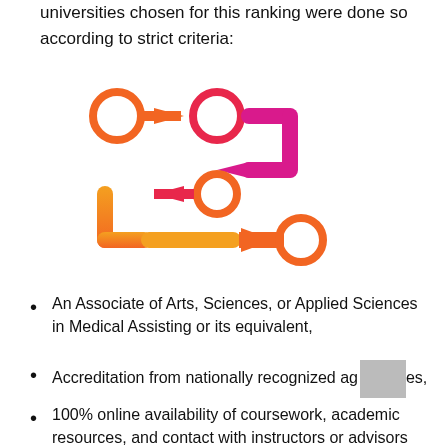universities chosen for this ranking were done so according to strict criteria:
[Figure (illustration): A flowchart-style illustration with circular nodes connected by arrows forming a path. Colors transition from orange to pink/magenta. Top row: orange circle, orange right-arrow, pink circle, pink U-turn arrow going down-right. Middle row: pink left-arrow pointing to orange circle. Bottom row: orange U-bend going down-left then right-arrow pointing to orange circle outline.]
An Associate of Arts, Sciences, or Applied Sciences in Medical Assisting or its equivalent,
Accreditation from nationally recognized agencies,
100% online availability of coursework, academic resources, and contact with instructors or advisors